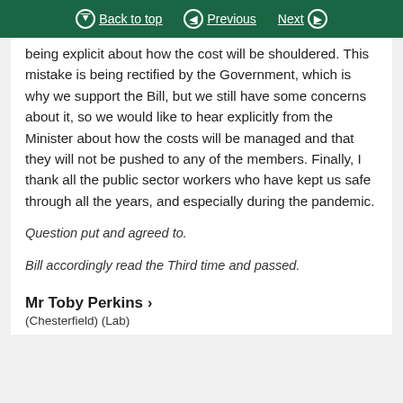Back to top | Previous | Next
being explicit about how the cost will be shouldered. This mistake is being rectified by the Government, which is why we support the Bill, but we still have some concerns about it, so we would like to hear explicitly from the Minister about how the costs will be managed and that they will not be pushed to any of the members. Finally, I thank all the public sector workers who have kept us safe through all the years, and especially during the pandemic.
Question put and agreed to.
Bill accordingly read the Third time and passed.
Mr Toby Perkins
(Chesterfield) (Lab)